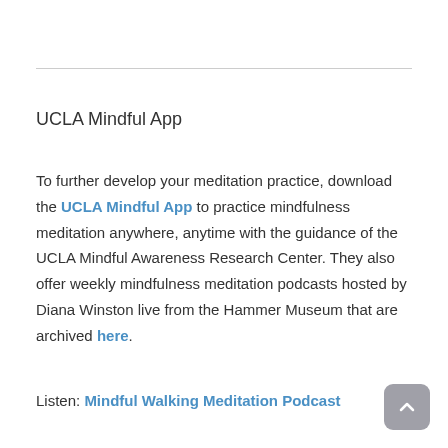UCLA Mindful App
To further develop your meditation practice, download the UCLA Mindful App to practice mindfulness meditation anywhere, anytime with the guidance of the UCLA Mindful Awareness Research Center. They also offer weekly mindfulness meditation podcasts hosted by Diana Winston live from the Hammer Museum that are archived here.
Listen: Mindful Walking Meditation Podcast